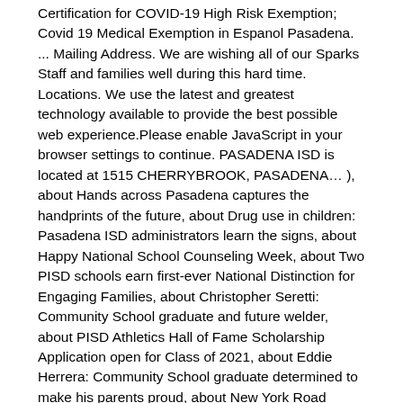Certification for COVID-19 High Risk Exemption; Covid 19 Medical Exemption in Espanol Pasadena. ... Mailing Address. We are wishing all of our Sparks Staff and families well during this hard time. Locations. We use the latest and greatest technology available to provide the best possible web experience.Please enable JavaScript in your browser settings to continue. PASADENA ISD is located at 1515 CHERRYBROOK, PASADENA… ), about Hands across Pasadena captures the handprints of the future, about Drug use in children: Pasadena ISD administrators learn the signs, about Happy National School Counseling Week, about Two PISD schools earn first-ever National Distinction for Engaging Families, about Christopher Seretti: Community School graduate and future welder, about PISD Athletics Hall of Fame Scholarship Application open for Class of 2021, about Eddie Herrera: Community School graduate determined to make his parents proud, about New York Road Runners donates 850 pairs of sneakers to Milstead